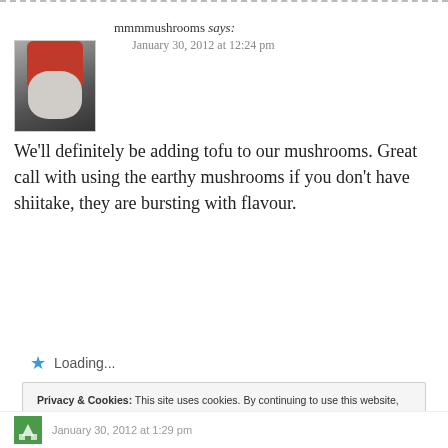mmmmushrooms says: January 30, 2012 at 12:24 pm
We'll definitely be adding tofu to our mushrooms. Great call with using the earthy mushrooms if you don't have shiitake, they are bursting with flavour.
Loading...
Privacy & Cookies: This site uses cookies. By continuing to use this website, you agree to their use. To find out more, including how to control cookies, see here: Our Cookie Policy
Close and accept
January 30, 2012 at 1:29 pm